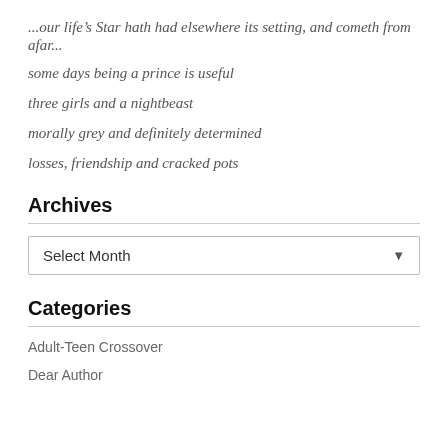...our life's Star hath had elsewhere its setting, and cometh from afar...
some days being a prince is useful
three girls and a nightbeast
morally grey and definitely determined
losses, friendship and cracked pots
Archives
Select Month
Categories
Adult-Teen Crossover
Dear Author